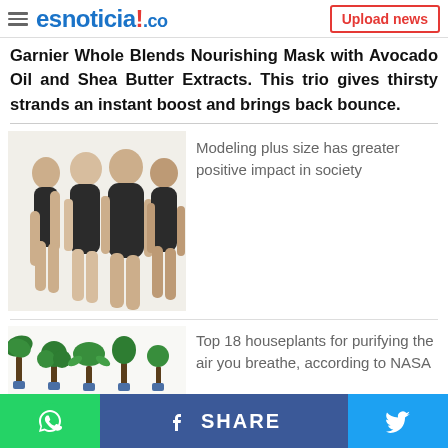esnoticia!.co | Upload news
Garnier Whole Blends Nourishing Mask with Avocado Oil and Shea Butter Extracts. This trio gives thirsty strands an instant boost and brings back bounce.
[Figure (photo): Four plus-size women in black swimsuits posing together on white background]
Modeling plus size has greater positive impact in society
[Figure (infographic): Top 18 houseplants infographic with illustrated green plants labeled with their names and care symbols]
Top 18 houseplants for purifying the air you breathe, according to NASA